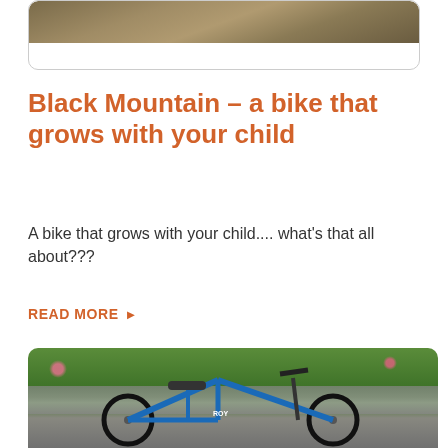[Figure (photo): Top portion of a card with a photo partially visible at the top, card has rounded corners with a light border]
Black Mountain – a bike that grows with your child
A bike that grows with your child.... what's that all about???
READ MORE ▶
[Figure (photo): Photo of a blue children's bicycle (Roy brand) parked in front of a stone wall with garden plants and pink flowers in the background]